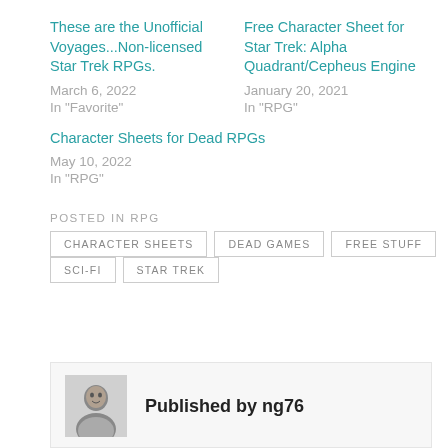These are the Unofficial Voyages...Non-licensed Star Trek RPGs.
March 6, 2022
In "Favorite"
Free Character Sheet for Star Trek: Alpha Quadrant/Cepheus Engine
January 20, 2021
In "RPG"
Character Sheets for Dead RPGs
May 10, 2022
In "RPG"
POSTED IN RPG
CHARACTER SHEETS
DEAD GAMES
FREE STUFF
SCI-FI
STAR TREK
Published by ng76